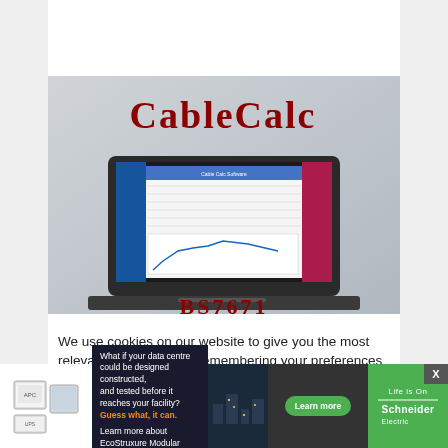[Figure (photo): Top banner with colorful cables and plant/wire imagery]
[Figure (screenshot): CableCalc software logo and laptop showing cable calculation software with BS7671 branding]
We use cookies on our website to give you the most relevant experience by remembering your preferences and repeat visits. By clicking “Accept”, you consent to the use of ALL the cookies.
[Figure (infographic): Schneider Electric advertisement banner: What if your data centre could be designed constructed, and tested before it reaches your facility? Guess what, it can. Learn more about EcoStruxure Modular Data Centres? Learn more. Life is On | Schneider Electric logo.]